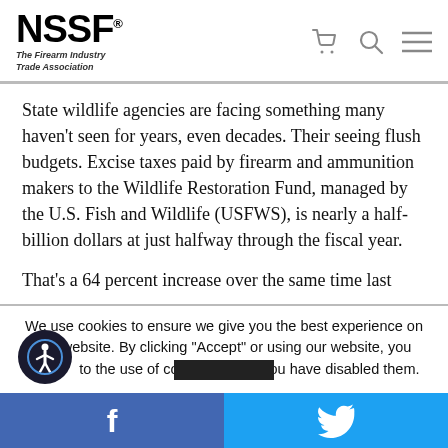NSSF® The Firearm Industry Trade Association
State wildlife agencies are facing something many haven't seen for years, even decades. Their seeing flush budgets. Excise taxes paid by firearm and ammunition makers to the Wildlife Restoration Fund, managed by the U.S. Fish and Wildlife (USFWS), is nearly a half-billion dollars at just halfway through the fiscal year.
That's a 64 percent increase over the same time last
We use cookies to ensure we give you the best experience on our website. By clicking "Accept" or using our website, you consent to the use of cookies unless you have disabled them.